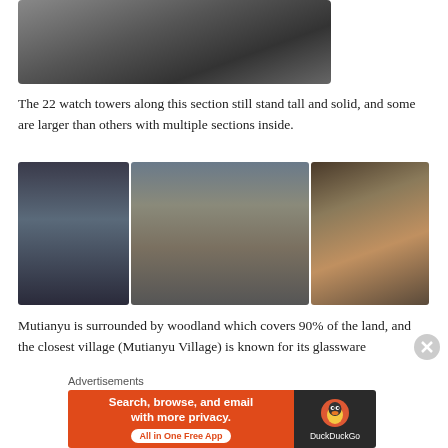[Figure (photo): Top-down view of Great Wall of China stone walkway with steps and crenellations visible]
The 22 watch towers along this section still stand tall and solid, and some are larger than others with multiple sections inside.
[Figure (photo): Three photos of Great Wall of China: interior corridor with arched openings, exterior view of watch tower with mountains, view through arch of wall stretching into distance]
Mutianyu is surrounded by woodland which covers 90% of the land, and the closest village (Mutianyu Village) is known for its glassware
Advertisements
[Figure (screenshot): DuckDuckGo advertisement banner: Search, browse, and email with more privacy. All in One Free App]